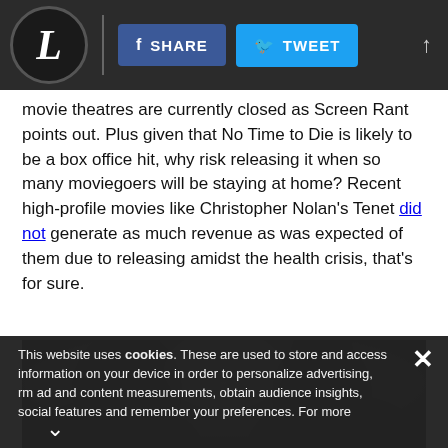L | SHARE | TWEET
movie theatres are currently closed as Screen Rant points out. Plus given that No Time to Die is likely to be a box office hit, why risk releasing it when so many moviegoers will be staying at home? Recent high-profile movies like Christopher Nolan's Tenet did not generate as much revenue as was expected of them due to releasing amidst the health crisis, that's for sure.
[Figure (photo): Black and white still from a movie showing two people facing each other in silhouette]
This website uses cookies. These are used to store and access information on your device in order to personalize advertising, form ad and content measurements, obtain audience insights, social features and remember your preferences. For more
[Figure (infographic): Advertisement: Vegas Views Up To 60% Off - Book Now - RCI. Shows Las Vegas sign image on the left.]